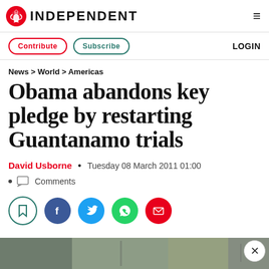INDEPENDENT
Contribute   Subscribe   LOGIN
News > World > Americas
Obama abandons key pledge by restarting Guantanamo trials
David Usborne  •  Tuesday 08 March 2011 01:00
Comments
[Figure (other): Social sharing buttons: bookmark, Facebook, Twitter, WhatsApp, Email]
[Figure (photo): Partial photo strip at the bottom of the page showing a scene related to Guantanamo]